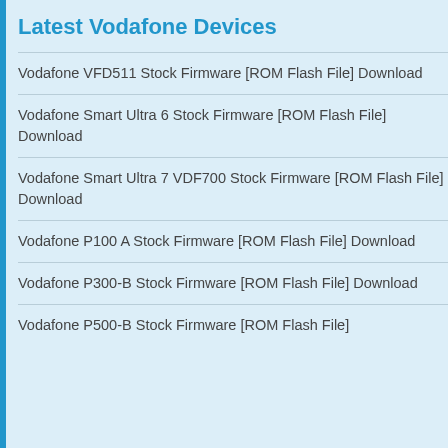Latest Vodafone Devices
Vodafone VFD511 Stock Firmware [ROM Flash File] Download
Vodafone Smart Ultra 6 Stock Firmware [ROM Flash File] Download
Vodafone Smart Ultra 7 VDF700 Stock Firmware [ROM Flash File] Download
Vodafone P100 A Stock Firmware [ROM Flash File] Download
Vodafone P300-B Stock Firmware [ROM Flash File] Download
Vodafone P500-B Stock Firmware [ROM Flash File]